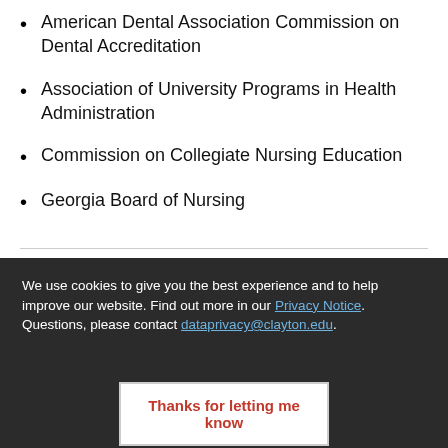American Dental Association Commission on Dental Accreditation
Association of University Programs in Health Administration
Commission on Collegiate Nursing Education
Georgia Board of Nursing
We use cookies to give you the best experience and to help improve our website. Find out more in our Privacy Notice. Questions, please contact dataprivacy@clayton.edu.
Thanks for letting me know